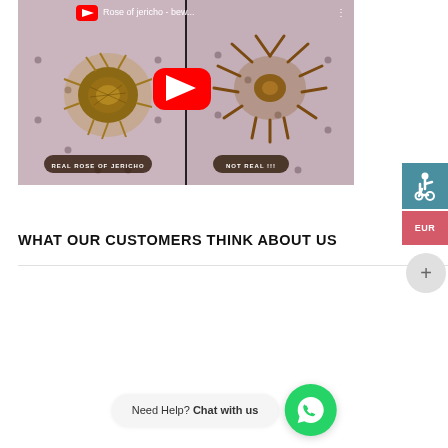[Figure (screenshot): YouTube video thumbnail showing two Rose of Jericho plants side by side. Left plant labeled 'REAL ROSE OF JERICHO', right plant labeled 'NOT REAL !!!'. Video title reads 'Rose of jericho - bew...' with YouTube play button overlay.]
WHAT OUR CUSTOMERS THINK ABOUT US
[Figure (other): Chat widget with text 'Need Help? Chat with us' and a green WhatsApp button icon on the right]